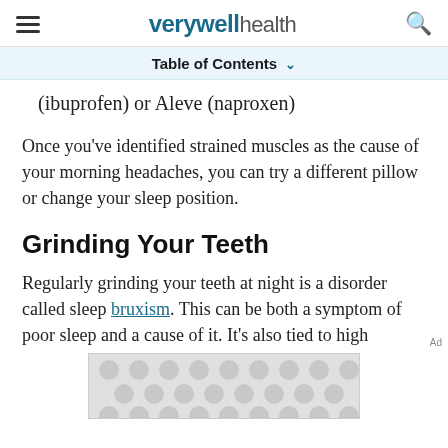verywell health
Table of Contents
(ibuprofen) or Aleve (naproxen)
Once you've identified strained muscles as the cause of your morning headaches, you can try a different pillow or change your sleep position.
Grinding Your Teeth
Regularly grinding your teeth at night is a disorder called sleep bruxism. This can be both a symptom of poor sleep and a cause of it. It's also tied to high
[Figure (other): Advertisement placeholder with decorative dot pattern]